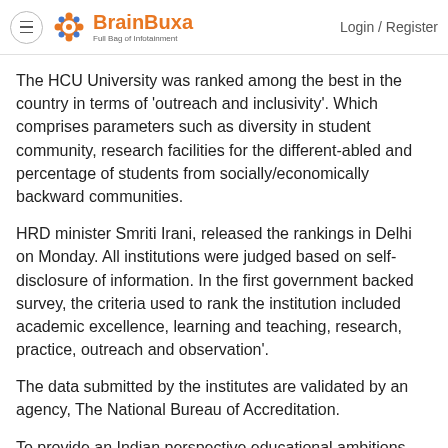BrainBuxa Full Bag of Infotainment | Login / Register
The HCU University was ranked among the best in the country in terms of 'outreach and inclusivity'. Which comprises parameters such as diversity in student community, research facilities for the different-abled and percentage of students from socially/economically backward communities.
HRD minister Smriti Irani, released the rankings in Delhi on Monday. All institutions were judged based on self-disclosure of information. In the first government backed survey, the criteria used to rank the institution included academic excellence, learning and teaching, research, practice, outreach and observation'.
The data submitted by the institutes are validated by an agency, The National Bureau of Accreditation.
To provide an Indian perspective educational ambitions and needs, the new ranking agenda has been conscripted.